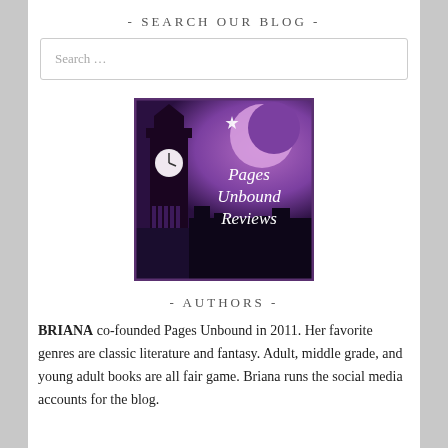- SEARCH OUR BLOG -
Search …
[Figure (logo): Pages Unbound Reviews logo — purple/dark background with silhouette of Big Ben clock tower, crescent moon, and text 'Pages Unbound Reviews' in white script]
- AUTHORS -
BRIANA co-founded Pages Unbound in 2011. Her favorite genres are classic literature and fantasy. Adult, middle grade, and young adult books are all fair game. Briana runs the social media accounts for the blog.